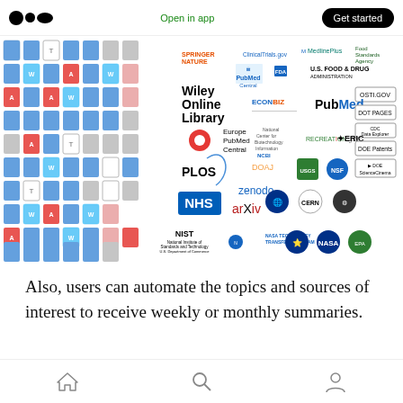Open in app | Get started
[Figure (screenshot): Screenshot of a research tool interface showing a grid of document icons on the left and a panel of academic/scientific publisher and database logos on the right, including Springer Nature, ClinicalTrials.gov, MedlinePlus, Food Standards Agency, Wiley Online Library, PubMed Central, FDA, PubMed, EconBiz, OSTI.gov, Europe PubMed Central, NCBI, RECREATION.gov, DOT PAGES, ERIC, CDC Data Explorer, DOE Patents, PLOS, DOAJ, USGS, NSF, DOE ScienceCinema, zenodo, NHS, arXiv, CERN, NIST, NASA Technology Transfer Program, and NASA logos]
Also, users can automate the topics and sources of interest to receive weekly or monthly summaries.
Home | Search | Profile